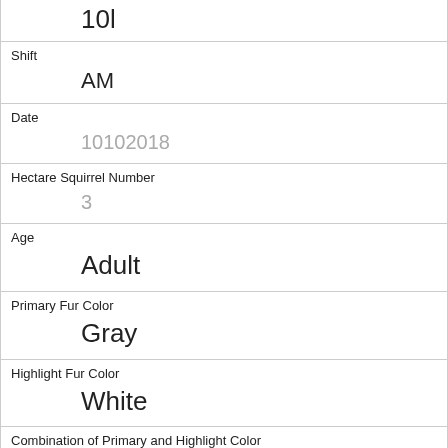10l
Shift
AM
Date
10102018
Hectare Squirrel Number
3
Age
Adult
Primary Fur Color
Gray
Highlight Fur Color
White
Combination of Primary and Highlight Color
Gray+White
Color notes
Location
Ground Plane
Above Ground Sighter Measurement
FALSE